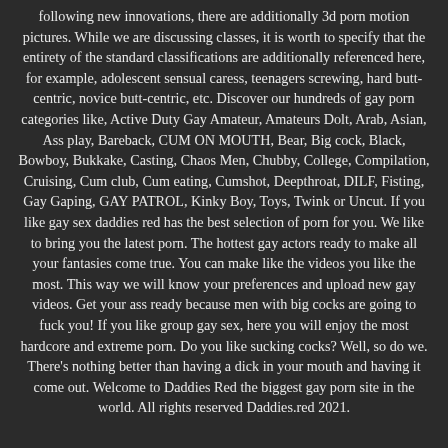following new innovations, there are additionally 3d porn motion pictures. While we are discussing classes, it is worth to specify that the entirety of the standard classifications are additionally referenced here, for example, adolescent sensual caress, teenagers screwing, hard butt-centric, novice butt-centric, etc. Discover our hundreds of gay porn categories like, Active Duty Gay Amateur, Amateurs Dolt, Arab, Asian, Ass play, Bareback, CUM ON MOUTH, Bear, Big cock, Black, Bowboy, Bukkake, Casting, Chaos Men, Chubby, College, Compilation, Cruising, Cum club, Cum eating, Cumshot, Deepthroat, DILF, Fisting, Gay Gaping, GAY PATROL, Kinky Boy, Toys, Twink or Uncut. If you like gay sex daddies red has the best selection of porn for you. We like to bring you the latest porn. The hottest gay actors ready to make all your fantasies come true. You can make like the videos you like the most. This way we will know your preferences and upload new gay videos. Get your ass ready because men with big cocks are going to fuck you! If you like group gay sex, here you will enjoy the most hardcore and extreme porn. Do you like sucking cocks? Well, so do we. There's nothing better than having a dick in your mouth and having it come out. Welcome to Daddies Red the biggest gay porn site in the world. All rights reserved Daddies.red 2021.